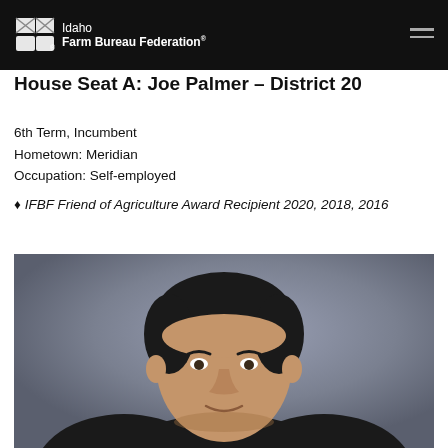Idaho Farm Bureau Federation
House Seat A: Joe Palmer – District 20
6th Term, Incumbent
Hometown: Meridian
Occupation: Self-employed
IFBF Friend of Agriculture Award Recipient 2020, 2018, 2016
[Figure (photo): Headshot portrait of Joe Palmer, a man with dark hair, against a gray/blue gradient background. He is wearing a dark suit. The photo is cropped at approximately chin/shoulder level.]